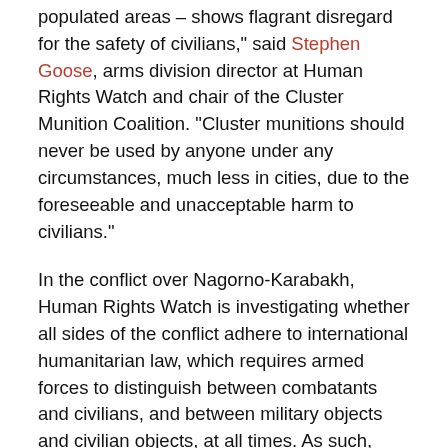populated areas – shows flagrant disregard for the safety of civilians," said Stephen Goose, arms division director at Human Rights Watch and chair of the Cluster Munition Coalition. "Cluster munitions should never be used by anyone under any circumstances, much less in cities, due to the foreseeable and unacceptable harm to civilians."
In the conflict over Nagorno-Karabakh, Human Rights Watch is investigating whether all sides of the conflict adhere to international humanitarian law, which requires armed forces to distinguish between combatants and civilians, and between military objects and civilian objects, at all times. As such, indiscriminate attacks are prohibited, including attacks which employ a method or means of combat which cannot be directed at a specific legitimate military target. Human Rights Watch has made repeated requests to the Azerbaijani government for access to conduct on-site investigations, but access has not yet been granted.